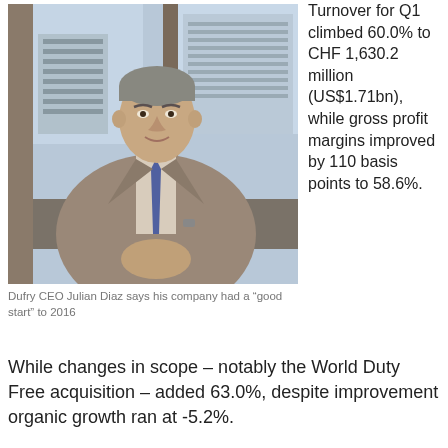[Figure (photo): Photo of Dufry CEO Julian Diaz, a middle-aged man in a suit and tie, seated with hands clasped, in front of windows with a cityscape behind.]
Dufry CEO Julian Diaz says his company had a “good start” to 2016
Turnover for Q1 climbed 60.0% to CHF 1,630.2 million (US$1.71bn), while gross profit margins improved by 110 basis points to 58.6%.
While changes in scope – notably the World Duty Free acquisition – added 63.0%, despite improvement organic growth ran at -5.2%.